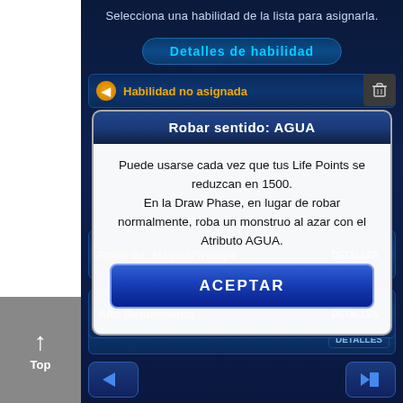[Figure (screenshot): Mobile game UI screenshot showing skill selection screen with a modal dialog. Dark blue themed interface with 'Detalles de habilidad' header, 'Habilidad no asignada' label, and a popup modal titled 'Robar sentido: AGUA' displaying skill description text and an ACEPTAR button. Below the modal are skill list items 'Robo de: Mágica/Trampa' and 'Alto Rendimiento' each with DETALLES buttons. Bottom navigation arrows and home button visible. Left sidebar shows 'Top' with up arrow on grey background.]